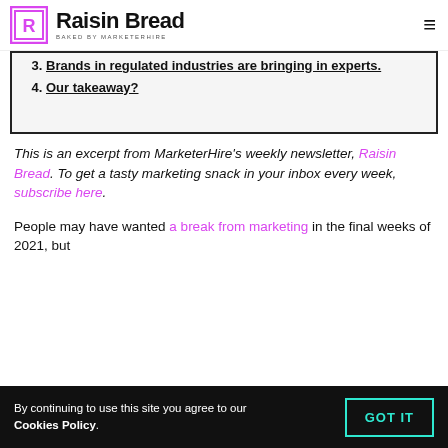Raisin Bread – Baked by MarketerHire
3. Brands in regulated industries are bringing in experts.
4. Our takeaway?
This is an excerpt from MarketerHire's weekly newsletter, Raisin Bread. To get a tasty marketing snack in your inbox every week, subscribe here.
People may have wanted a break from marketing in the final weeks of 2021, but
By continuing to use this site you agree to our Cookies Policy.